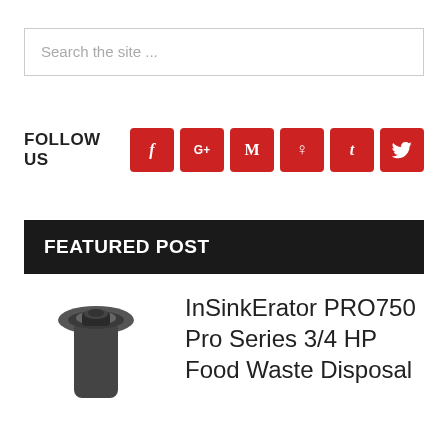[Figure (screenshot): Search bar with placeholder text 'Search the site ...']
[Figure (infographic): FOLLOW US section with 6 red social media icon buttons: Facebook (f), Google+ (G+), Medium (M), Pinterest (p), Tumblr (t), Twitter (bird icon)]
FEATURED POST
[Figure (photo): Photo of an InSinkErator garbage disposal unit, dark gray/black, viewed from above and slightly to the side]
InSinkErator PRO750 Pro Series 3/4 HP Food Waste Disposal